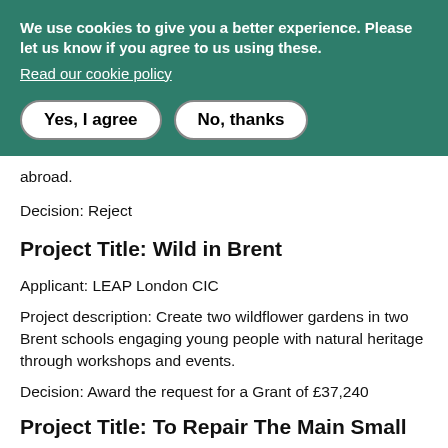We use cookies to give you a better experience. Please let us know if you agree to us using these.
Read our cookie policy
Yes, I agree | No, thanks
abroad.
Decision: Reject
Project Title: Wild in Brent
Applicant: LEAP London CIC
Project description: Create two wildflower gardens in two Brent schools engaging young people with natural heritage through workshops and events.
Decision: Award the request for a Grant of £37,240
Project Title: To Repair The Main Small...